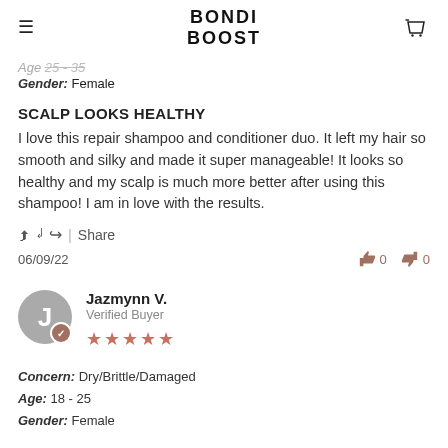[Figure (logo): BONDI BOOST logo with hamburger menu and cart icon]
Age: 25 - 35
Gender: Female
SCALP LOOKS HEALTHY
I love this repair shampoo and conditioner duo. It left my hair so smooth and silky and made it super manageable! It looks so healthy and my scalp is much more better after using this shampoo! I am in love with the results.
Share
06/09/22
0 0
Jazmynn V. Verified Buyer ★★★★★
Concern: Dry/Brittle/Damaged
Age: 18 - 25
Gender: Female